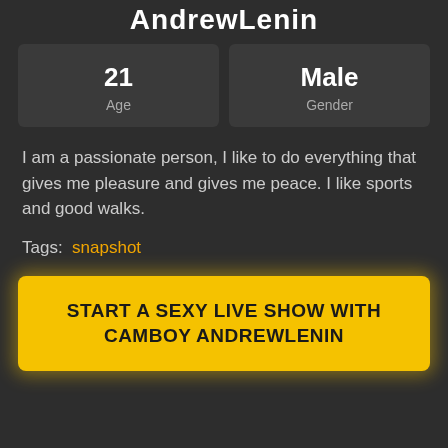AndrewLenin
| Value | Label |
| --- | --- |
| 21 | Age |
| Male | Gender |
I am a passionate person, I like to do everything that gives me pleasure and gives me peace. I like sports and good walks.
Tags:  snapshot
START A SEXY LIVE SHOW WITH CAMBOY ANDREWLENIN